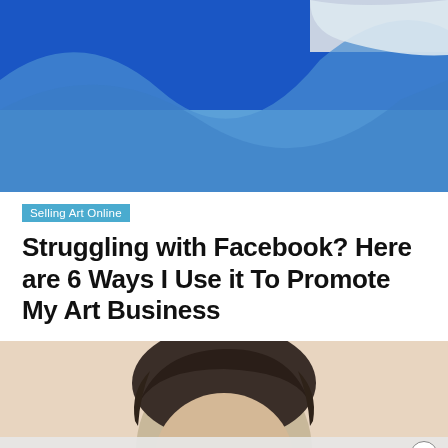[Figure (photo): Close-up of Facebook logo — blue background with white wave/stripe graphic element, partially cropped]
Selling Art Online
Struggling with Facebook? Here are 6 Ways I Use it To Promote My Art Business
[Figure (photo): Portrait photo of a person with dark hair, head cropped into frame, beige/skin-tone background, partially cut off at bottom]